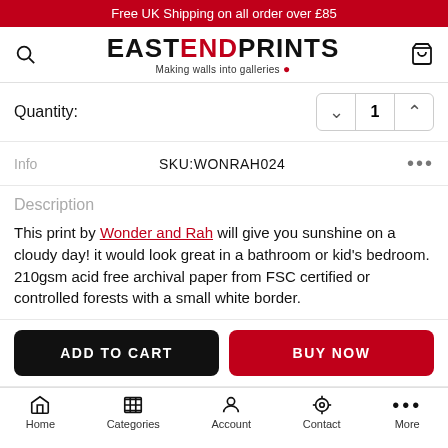Free UK Shipping on all order over £85
[Figure (logo): East End Prints logo with tagline 'Making walls into galleries']
Quantity: 1
Info   SKU:WONRAH024
Description
This print by Wonder and Rah will give you sunshine on a cloudy day! it would look great in a bathroom or kid's bedroom. 210gsm acid free archival paper from FSC certified or controlled forests with a small white border.
ADD TO CART
BUY NOW
Home   Categories   Account   Contact   More